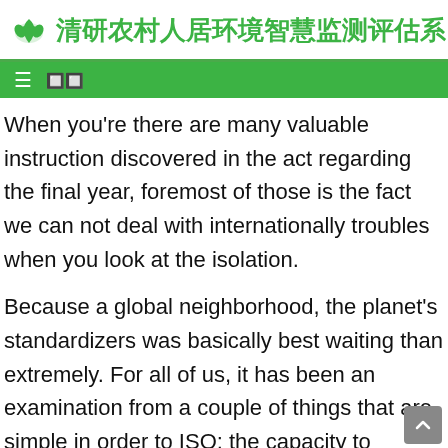清研农村人居环境智慧监测评估系
When you're there are many valuable instruction discovered in the act regarding the final year, foremost of those is the fact we can not deal with internationally troubles when you look at the isolation.
Because a global neighborhood, the planet's standardizers was basically best waiting than extremely. For all of us, it has been an examination from a couple of things that are simple in order to ISO: the capacity to collaborate in search of shared wants, and also the production of data, standards, one to serve as a proven means of dealing with real-globe issues. In the event the there were any who had been maybe not convinced in regards to the benefits out of an opinion-determined method advised because of the expert opinion, the end of 2020 remaining no one doubtful. Beyond reflecting the worth of all of our method, i responded, and additionally our players, and work out